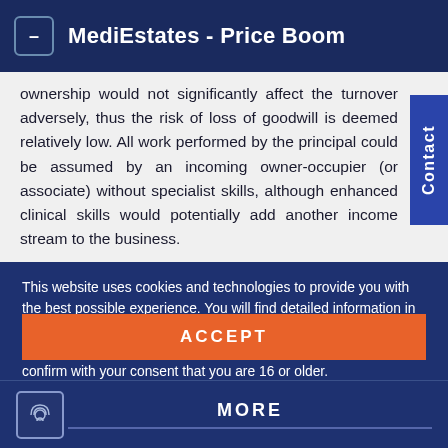MediEstates - Price Boom
ownership would not significantly affect the turnover adversely, thus the risk of loss of goodwill is deemed relatively low. All work performed by the principal could be assumed by an incoming owner-occupier (or associate) without specialist skills, although enhanced clinical skills would potentially add another income stream to the business.
This website uses cookies and technologies to provide you with the best possible experience. You will find detailed information in our "Privacy Policy". To change your settings or to disable the use of cookies and technologies, click on the fingerprint icon. You also confirm with your consent that you are 16 or older.
ACCEPT
MORE